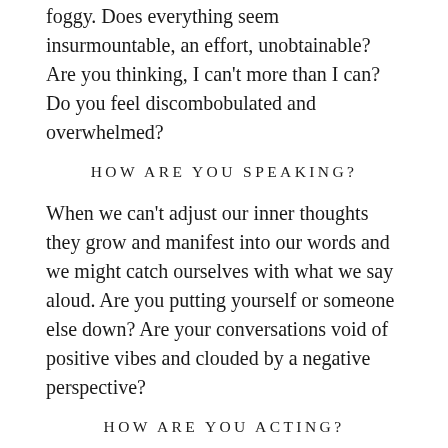foggy. Does everything seem insurmountable, an effort, unobtainable? Are you thinking, I can't more than I can? Do you feel discombobulated and overwhelmed?
HOW ARE YOU SPEAKING?
When we can't adjust our inner thoughts they grow and manifest into our words and we might catch ourselves with what we say aloud. Are you putting yourself or someone else down? Are your conversations void of positive vibes and clouded by a negative perspective?
HOW ARE YOU ACTING?
BREATH
Stop and check in on your breath. Are you short of breath and breathing in the top of your chest? If you aren't breathing deeply and filling your lungs fully, your breath